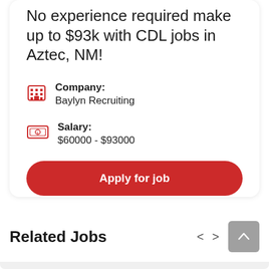No experience required make up to $93k with CDL jobs in Aztec, NM!
Company: Baylyn Recruiting
Salary: $60000 - $93000
Apply for job
Related Jobs